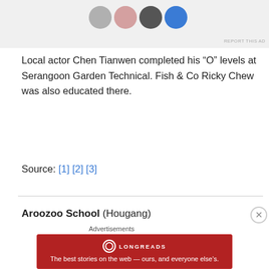[Figure (photo): Top section showing partial circular avatar/profile images on gray background, with 'REPORT THIS AD' text in top right]
Local actor Chen Tianwen completed his “O” levels at Serangoon Garden Technical. Fish & Co Ricky Chew was also educated there.
Source: [1] [2] [3]
Aroozoo School (Hougang)
Merged into Charlton School in 1991
More than 50 years ago in 1963, there used to be an Aroozoo Integrated School (what it was known as) located
[Figure (infographic): Longreads advertisement banner in red: 'The best stories on the web — ours, and everyone else’s.' with close button overlay]